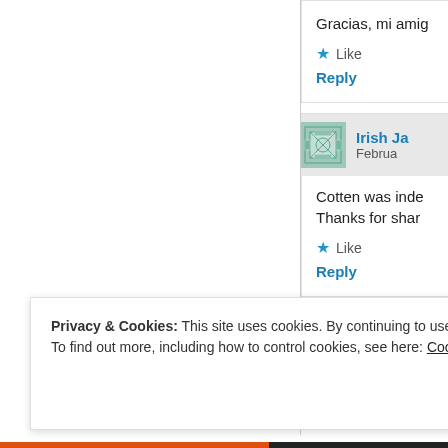Gracias, mi ami…
Like
Reply
Irish Ja… | Februa…
Cotten was inde… Thanks for shar…
Like
Reply
Privacy & Cookies: This site uses cookies. By continuing to use this website, you agree to their use. To find out more, including how to control cookies, see here: Cookie Policy
Close and accept